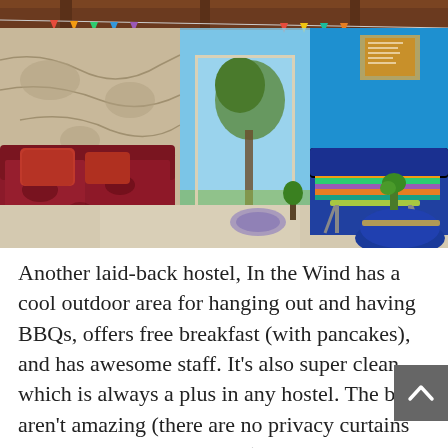[Figure (photo): Interior of a hostel common room with colorful sofas (red/maroon on left, multicolored striped on right), blue walls, a glass sliding door leading to a garden with a tree, hanging prayer flags on the ceiling, and a coffee table. Bright, casual atmosphere.]
Another laid-back hostel, In the Wind has a cool outdoor area for hanging out and having BBQs, offers free breakfast (with pancakes), and has awesome staff. It’s also super clean, which is always a plus in any hostel. The beds aren’t amazing (there are no privacy curtains and the mattresses are thin), but the hostel is super affordable and the vibe here more than